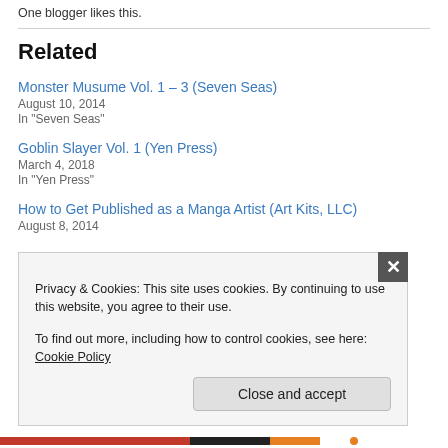One blogger likes this.
Related
Monster Musume Vol. 1 – 3 (Seven Seas)
August 10, 2014
In "Seven Seas"
Goblin Slayer Vol. 1 (Yen Press)
March 4, 2018
In "Yen Press"
How to Get Published as a Manga Artist (Art Kits, LLC)
August 8, 2014
Privacy & Cookies: This site uses cookies. By continuing to use this website, you agree to their use.
To find out more, including how to control cookies, see here: Cookie Policy